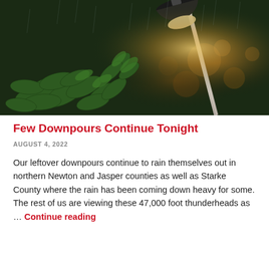[Figure (photo): Night-time photograph of a street lamp illuminating green tree branches in the rain, with a dark blurred background of orange/brown bokeh light reflections.]
Few Downpours Continue Tonight
AUGUST 4, 2022
Our leftover downpours continue to rain themselves out in northern Newton and Jasper counties as well as Starke County where the rain has been coming down heavy for some. The rest of us are viewing these 47,000 foot thunderheads as … Continue reading